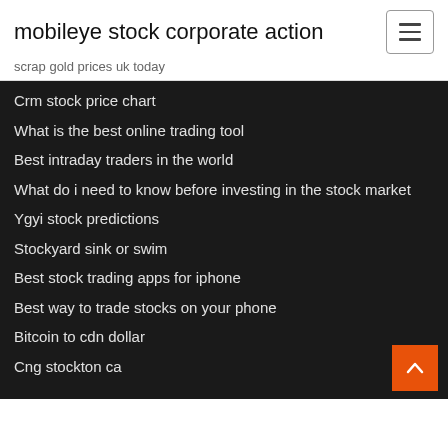mobileye stock corporate action
scrap gold prices uk today
Crm stock price chart
What is the best online trading tool
Best intraday traders in the world
What do i need to know before investing in the stock market
Ygyi stock predictions
Stockyard sink or swim
Best stock trading apps for iphone
Best way to trade stocks on your phone
Bitcoin to cdn dollar
Cng stockton ca